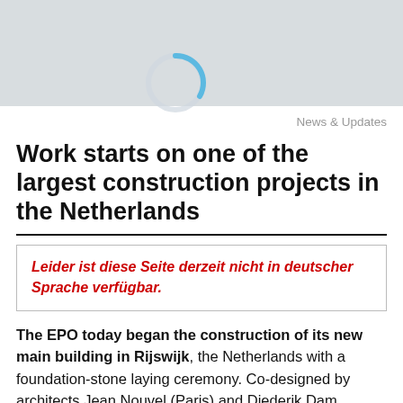[Figure (other): Gray banner image area at top of page]
News & Updates
Work starts on one of the largest construction projects in the Netherlands
Leider ist diese Seite derzeit nicht in deutscher Sprache verfügbar.
The EPO today began the construction of its new main building in Rijswijk, the Netherlands with a foundation-stone laying ceremony. Co-designed by architects Jean Nouvel (Paris) and Diederik Dam (Amsterdam), the new building will set a benchmark for sustainability and provide a flexible working environment of 80 000 square meters for the staff of